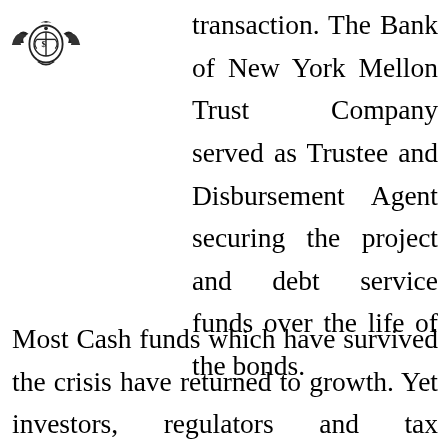[Figure (logo): Decorative emblem/logo with wings and scales, ornate seal style]
transaction. The Bank of New York Mellon Trust Company served as Trustee and Disbursement Agent securing the project and debt service funds over the life of the bonds.
Most Cash funds which have survived the crisis have returned to growth. Yet investors, regulators and tax authorities are making stronger governance the price of